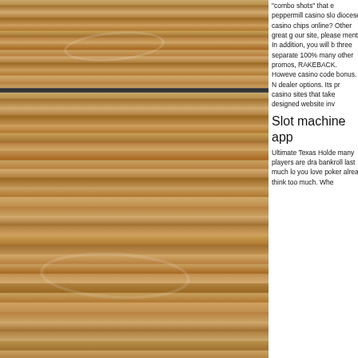[Figure (photo): Wood plank texture background - top section showing horizontal wooden boards with natural grain pattern in warm brown tones]
[Figure (photo): Wood plank texture background - bottom section showing horizontal wooden boards with natural grain pattern, knot visible on right side]
"combo shots" that e peppermill casino slo diocese casino chips online? Other great g our site, please ment In addition, you will b three separate 100% many other promos, RAKEBACK. However casino code bonus. N dealer options. Its pr casino sites that take designed website inv
Slot machine app
Ultimate Texas Holde many players are dra bankroll last much lo you love poker alrea think too much. Whe